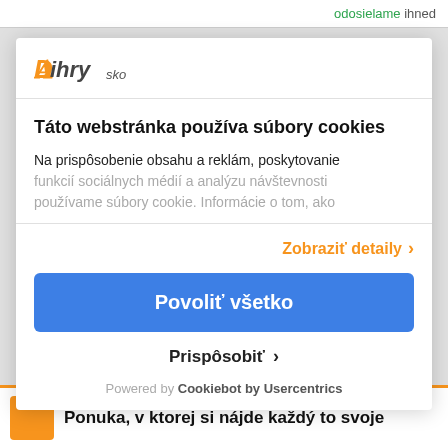odosielame ihned
[Figure (logo): ihrysko logo with orange 'D' and italic text]
Táto webstránka používa súbory cookies
Na prispôsobenie obsahu a reklám, poskytovanie funkcií sociálnych médií a analýzu návštevnosti používame súbory cookie. Informácie o tom, ako
Zobraziť detaily >
Povoliť všetko
Prispôsobiť >
Powered by Cookiebot by Usercentrics
Ponuka, v ktorej si nájde každý to svoje